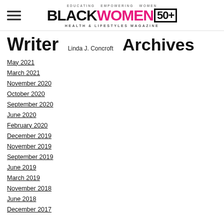BLACK WOMEN 50+ Health & Lifestyles Magazine
Writer
Linda J. Concroft
Archives
May 2021
March 2021
November 2020
October 2020
September 2020
June 2020
February 2020
December 2019
November 2019
September 2019
June 2019
March 2019
November 2018
June 2018
December 2017